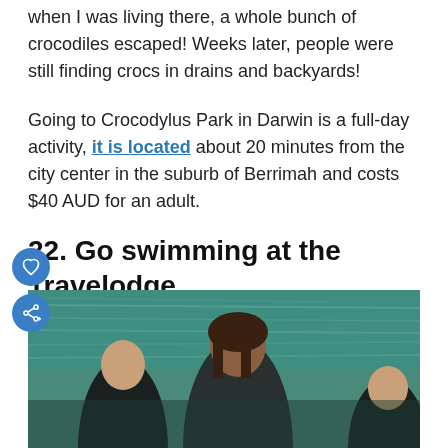when I was living there, a whole bunch of crocodiles escaped! Weeks later, people were still finding crocs in drains and backyards!
Going to Crocodylus Park in Darwin is a full-day activity, it is located about 20 minutes from the city center in the suburb of Berrimah and costs $40 AUD for an adult.
22. Go swimming at the Travelodge
[Figure (photo): Photo of people swimming in a pool or open water with a teal/green water background.]